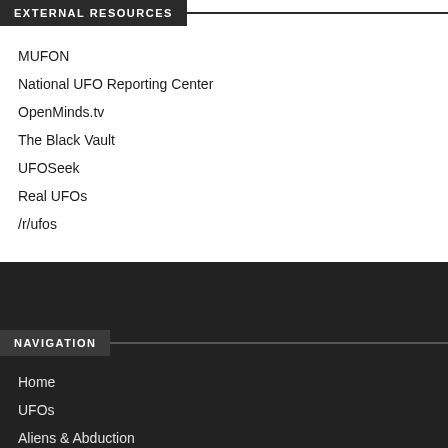EXTERNAL RESOURCES
MUFON
National UFO Reporting Center
OpenMinds.tv
The Black Vault
UFOSeek
Real UFOs
/r/ufos
NAVIGATION
Home
UFOs
Aliens & Abduction
Science